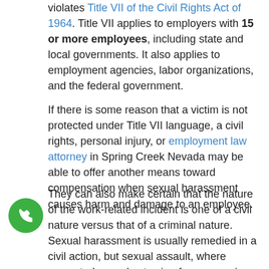violates Title VII of the Civil Rights Act of 1964. Title VII applies to employers with 15 or more employees, including state and local governments. It also applies to employment agencies, labor organizations, and the federal government.
If there is some reason that a victim is not protected under Title VII language, a civil rights, personal injury, or employment law attorney in Spring Creek Nevada may be able to offer another means toward compensation when sexual harassment causes harm and damage to an employee.
They can also make certain that the nature of the work-related incident is one of a civil nature versus that of a criminal nature. Sexual harassment is usually remedied in a civil action, but sexual assault, where unwanted sexual act using force, coercion, or incapacitation occurs is a criminal offense. If a victim of sexual harassment in Spring Creek Nevada has suffered unwanted touching of a